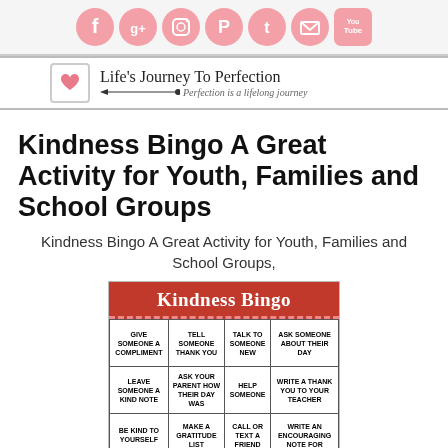[Figure (infographic): Social media icons row: Facebook, Google+, Instagram, Pinterest, Twitter, Email, YouTube in pink circles]
[Figure (logo): Life's Journey To Perfection blog logo with heart icon and tagline 'Perfection is a lifelong journey']
Kindness Bingo A Great Activity for Youth, Families and School Groups
Kindness Bingo A Great Activity for Youth, Families and School Groups,
[Figure (infographic): Kindness Bingo card on wood background with red header and white grid cells containing kindness activities: Give Someone a Compliment, Tell Someone Thank You, Talk to Someone New, Ask Someone About Their Day, Leave Someone a Kind Note, Ask Your Parent How Their Day Was, Help Someone, Write a Thank You to Your Teacher, Be Kind to Yourself, Make a Gratitude List, Call or Text a Friend, Write an Encouraging Note For...]